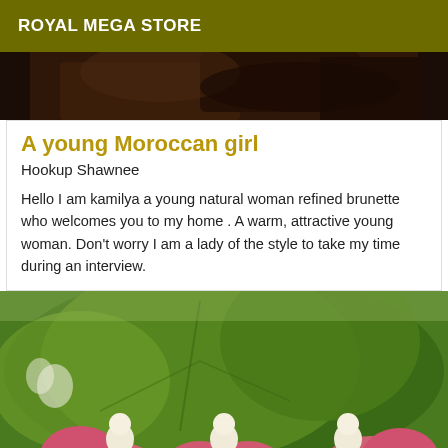ROYAL MEGA STORE
[Figure (photo): Top portion of a photo showing dark background, partial image of a person]
A young Moroccan girl
Hookup Shawnee
Hello I am kamilya a young natural woman refined brunette who welcomes you to my home . A warm, attractive young woman. Don't worry I am a lady of the style to take my time during an interview.
[Figure (photo): Photo showing flower fairy figurines (small doll-like figures) nestled among green leaves and pink flowers]